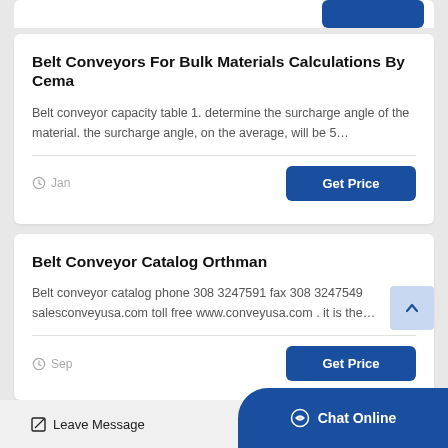Belt Conveyors For Bulk Materials Calculations By Cema
Belt conveyor capacity table 1. determine the surcharge angle of the material. the surcharge angle, on the average, will be 5…
Jan
Belt Conveyor Catalog Orthman
Belt conveyor catalog phone 308 3247591 fax 308 3247549 salesconveyusa.com toll free www.conveyusa.com . it is the…
Sep